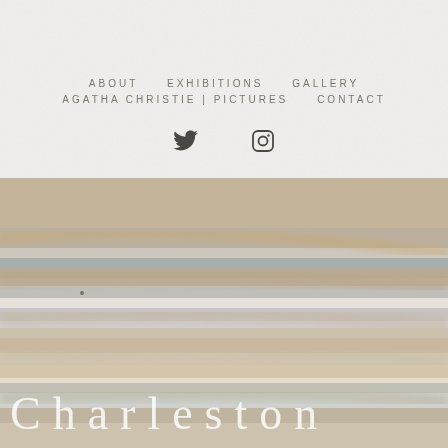ABOUT   EXHIBITIONS   GALLERY   AGATHA CHRISTIE | PICTURES   CONTACT
[Figure (illustration): Abstract landscape painting with warm sandy and cool grey tones suggesting a misty seascape or sky, horizontal bands of color]
Charleston